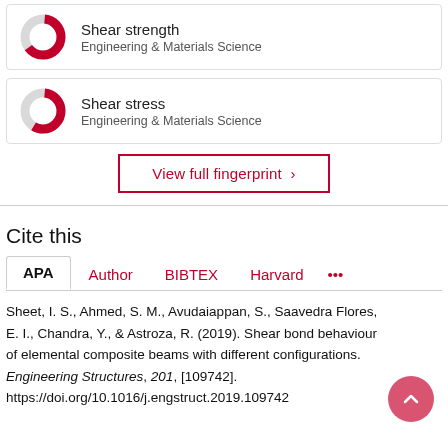[Figure (donut-chart): Donut chart showing partial fill in red/crimson, grey background, representing Shear strength keyword relevance]
Shear strength
Engineering & Materials Science
[Figure (donut-chart): Donut chart showing partial fill in red/crimson, grey background, representing Shear stress keyword relevance]
Shear stress
Engineering & Materials Science
View full fingerprint >
Cite this
APA  Author  BIBTEX  Harvard  ...
Sheet, I. S., Ahmed, S. M., Avudaiappan, S., Saavedra Flores, E. I., Chandra, Y., & Astroza, R. (2019). Shear bond behaviour of elemental composite beams with different configurations. Engineering Structures, 201, [109742].
https://doi.org/10.1016/j.engstruct.2019.109742